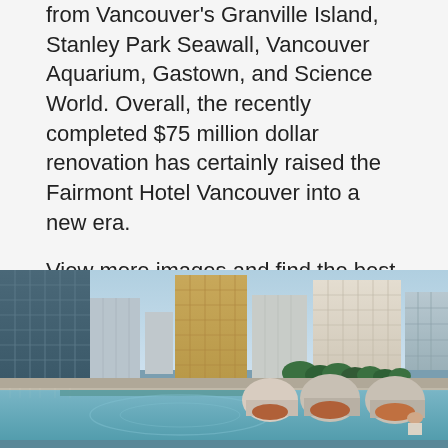from Vancouver's Granville Island, Stanley Park Seawall, Vancouver Aquarium, Gastown, and Science World. Overall, the recently completed $75 million dollar renovation has certainly raised the Fairmont Hotel Vancouver into a new era.
View more images and find the best rates for Fairmont Hotel Vancouver
[Figure (photo): Rooftop pool area of Fairmont Hotel Vancouver with lounge chairs and pod-style seating, surrounded by Vancouver city skyline including glass, concrete, and tan-colored high-rise buildings with trees in the background.]